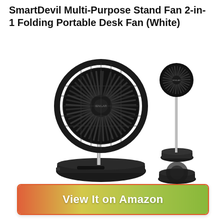SmartDevil Multi-Purpose Stand Fan 2-in-1 Folding Portable Desk Fan (White)
[Figure (photo): Product photo showing a SmartDevil 2-in-1 folding portable stand/desk fan in dark gray/black color. Left side shows the fan fully extended as a stand fan with a large circular blade housing on a tall pole and round base. Right side shows the fan in a more compact/folded configuration with a smaller pole and separate base sections.]
View It on Amazon